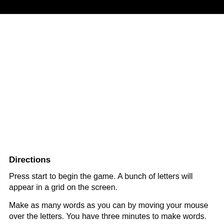Directions
Press start to begin the game. A bunch of letters will appear in a grid on the screen.
Make as many words as you can by moving your mouse over the letters. You have three minutes to make words.